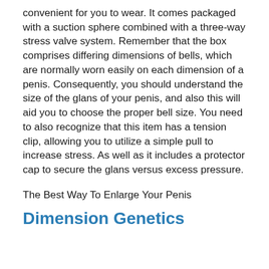convenient for you to wear. It comes packaged with a suction sphere combined with a three-way stress valve system. Remember that the box comprises differing dimensions of bells, which are normally worn easily on each dimension of a penis. Consequently, you should understand the size of the glans of your penis, and also this will aid you to choose the proper bell size. You need to also recognize that this item has a tension clip, allowing you to utilize a simple pull to increase stress. As well as it includes a protector cap to secure the glans versus excess pressure.
The Best Way To Enlarge Your Penis
Dimension Genetics